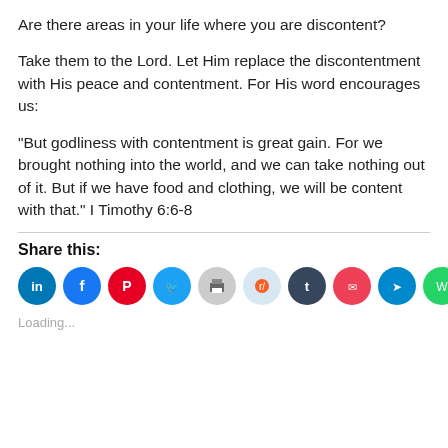Are there areas in your life where you are discontent?
Take them to the Lord. Let Him replace the discontentment with His peace and contentment. For His word encourages us:
“But godliness with contentment is great gain. For we brought nothing into the world, and we can take nothing out of it. But if we have food and clothing, we will be content with that.” I Timothy 6:6-8
Share this:
[Figure (infographic): Row of social media share icon buttons: LinkedIn (blue), Facebook (blue), Pinterest (red), Twitter (cyan), Print (light gray), Reddit (light blue), Tumblr (dark navy), Pocket (red), Telegram (blue), WhatsApp (green)]
Loading...